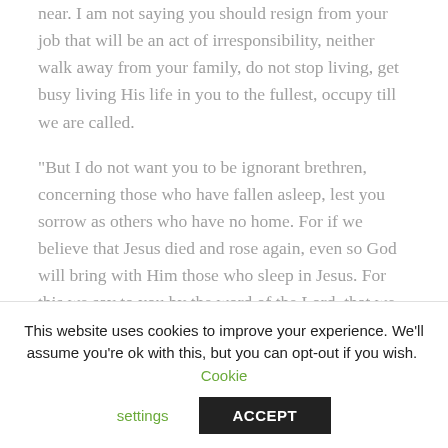near. I am not saying you should resign from your job that will be an act of irresponsibility, neither walk away from your family, do not stop living, get busy living His life in you to the fullest, occupy till we are called.
“But I do not want you to be ignorant brethren, concerning those who have fallen asleep, lest you sorrow as others who have no home. For if we believe that Jesus died and rose again, even so God will bring with Him those who sleep in Jesus. For this we say to you by the word of the Lord, that we who are alive and remain until the coming of the Lord will by no means precede those who are asleep. For the Lord Himself will descend from Heaven with a shout, with the voice of an archangel, and with the trumpet of God and the dead in Christ will rise first, then we who are alive and remain shall be caught up together with them in the clouds to meet the Lord in the air and thus we shall always
This website uses cookies to improve your experience. We'll assume you're ok with this, but you can opt-out if you wish. Cookie settings ACCEPT